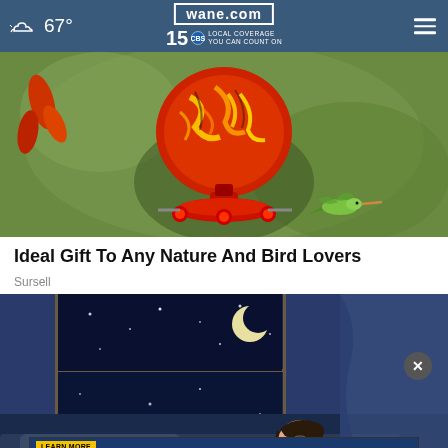wane.com 15 LOCAL COVERAGE YOU CAN COUNT ON 67°
[Figure (photo): A colorful red and yellow swirled glass hummingbird feeder with a hummingbird hovering nearby and red flowers visible on the left, set against a green blurred background.]
Ideal Gift To Any Nature And Bird Lovers
Sursell
[Figure (illustration): An illustration of a person lying in bed at night, unable to sleep, with a window showing a night sky with stars and moon, blue curtains on the right.]
LEARN MORE SHARE CERTIFICATES 13 Month at 2.00%APY* | 59 Month at 2.50%APY* 3RIVERS NCUA *APY=Annual Percentage Yield. Restrictions apply. Learn more: 3riversfcu.org/specials